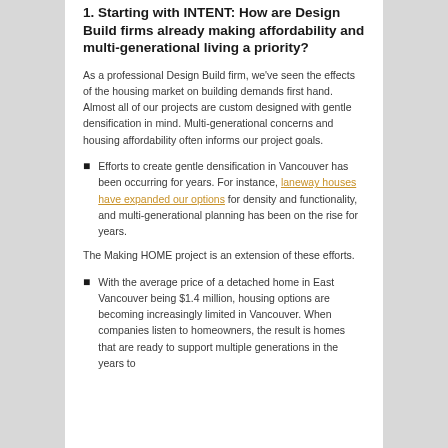1. Starting with INTENT: How are Design Build firms already making affordability and multi-generational living a priority?
As a professional Design Build firm, we've seen the effects of the housing market on building demands first hand. Almost all of our projects are custom designed with gentle densification in mind. Multi-generational concerns and housing affordability often informs our project goals.
Efforts to create gentle densification in Vancouver has been occurring for years. For instance, laneway houses have expanded our options for density and functionality, and multi-generational planning has been on the rise for years.
The Making HOME project is an extension of these efforts.
With the average price of a detached home in East Vancouver being $1.4 million, housing options are becoming increasingly limited in Vancouver. When companies listen to homeowners, the result is homes that are ready to support multiple generations in the years to